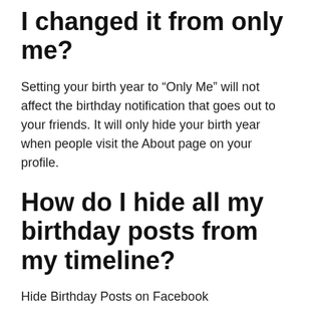I changed it from only me?
Setting your birth year to “Only Me” will not affect the birthday notification that goes out to your friends. It will only hide your birth year when people visit the About page on your profile.
How do I hide all my birthday posts from my timeline?
Hide Birthday Posts on Facebook
On both Facebook web and mobile app, hit the three-dot menu in the top-right corner of that post. Step 2: From the menu, choose the